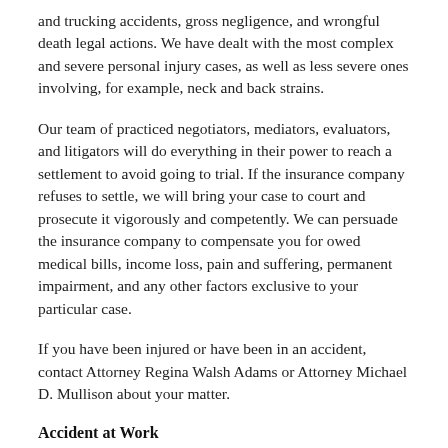and trucking accidents, gross negligence, and wrongful death legal actions. We have dealt with the most complex and severe personal injury cases, as well as less severe ones involving, for example, neck and back strains.
Our team of practiced negotiators, mediators, evaluators, and litigators will do everything in their power to reach a settlement to avoid going to trial. If the insurance company refuses to settle, we will bring your case to court and prosecute it vigorously and competently. We can persuade the insurance company to compensate you for owed medical bills, income loss, pain and suffering, permanent impairment, and any other factors exclusive to your particular case.
If you have been injured or have been in an accident, contact Attorney Regina Walsh Adams or Attorney Michael D. Mullison about your matter.
Accident at Work
Don't second guess yourself if you think your injury is only minor. Contact your supervisor without delay and complete a First Report of Injury form. Fault-finding is not necessary for a work-related accident; just demonstrate satisfactorily you...